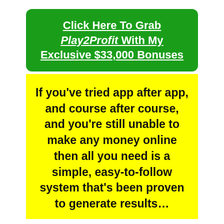Click Here To Grab Play2Profit With My Exclusive $33,000 Bonuses
If you’ve tried app after app, and course after course, and you’re still unable to make any money online then all you need is a simple, easy-to-follow system that’s been proven to generate results…